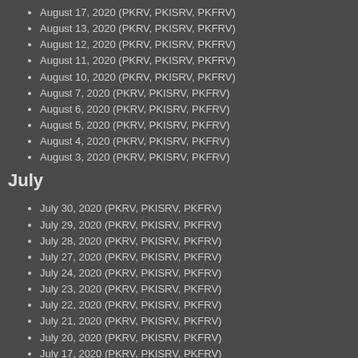August 17, 2020 (PKRV, PKISRV, PKFRV)
August 13, 2020 (PKRV, PKISRV, PKFRV)
August 12, 2020 (PKRV, PKISRV, PKFRV)
August 11, 2020 (PKRV, PKISRV, PKFRV)
August 10, 2020 (PKRV, PKISRV, PKFRV)
August 7, 2020 (PKRV, PKISRV, PKFRV)
August 6, 2020 (PKRV, PKISRV, PKFRV)
August 5, 2020 (PKRV, PKISRV, PKFRV)
August 4, 2020 (PKRV, PKISRV, PKFRV)
August 3, 2020 (PKRV, PKISRV, PKFRV)
July
July 30, 2020 (PKRV, PKISRV, PKFRV)
July 29, 2020 (PKRV, PKISRV, PKFRV)
July 28, 2020 (PKRV, PKISRV, PKFRV)
July 27, 2020 (PKRV, PKISRV, PKFRV)
July 24, 2020 (PKRV, PKISRV, PKFRV)
July 23, 2020 (PKRV, PKISRV, PKFRV)
July 22, 2020 (PKRV, PKISRV, PKFRV)
July 21, 2020 (PKRV, PKISRV, PKFRV)
July 20, 2020 (PKRV, PKISRV, PKFRV)
July 17, 2020 (PKRV, PKISRV, PKFRV)
July 16, 2020 (PKRV, PKISRV, PKFRV)
July 15, 2020 (PKRV, PKISRV, PKFRV)
July 14, 2020 (PKRV, PKISRV, PKFRV)
July 13, 2020 (PKRV, PKISRV, PKFRV)
July 10, 2020 (PKRV, PKISRV, PKFRV)
July 9, 2020 (PKRV, PKISRV, PKFRV)
July 8, 2020 (PKRV, PKISRV, PKFRV)
July 7, 2020 (PKRV, PKISRV, PKFRV)
July 6, 2020 (PKRV, PKISRV, PKFRV)
July 3, 2020 (PKRV, PKISRV, PKFRV)
July 2, 2020 (PKRV, PKISRV, PKFRV)
June